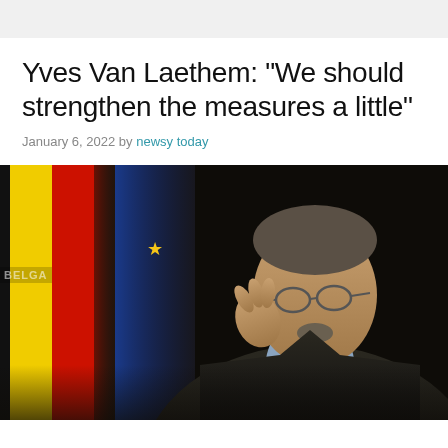Yves Van Laethem: “We should strengthen the measures a little”
January 6, 2022 by newsy today
[Figure (photo): Yves Van Laethem speaking at a press conference, gesturing with his right hand, wearing glasses and a dark blazer. Belgian and EU flags visible in the background.]